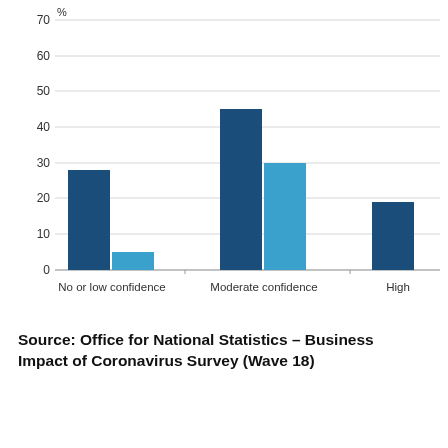[Figure (grouped-bar-chart): ]
Source: Office for National Statistics – Business Impact of Coronavirus Survey (Wave 18)